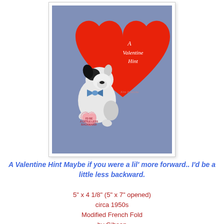[Figure (illustration): Vintage 1950s Valentine's Day card illustration. A small black-and-white dog with a blue bow tie sits with its back turned, looking at a large red heart. The dog holds a smaller pink heart that reads 'I'D BE A LITTLE LESS BACKWARD!' The red heart has cursive white text reading 'A Valentine Hint'. There is a cursive signature at the bottom right of the heart. The background is periwinkle/slate blue.]
A Valentine Hint Maybe if you were a lil' more forward.. I'd be a little less backward.
5" x 4 1/8" (5" x 7" opened)
circa 1950s
Modified French Fold
by Gibson